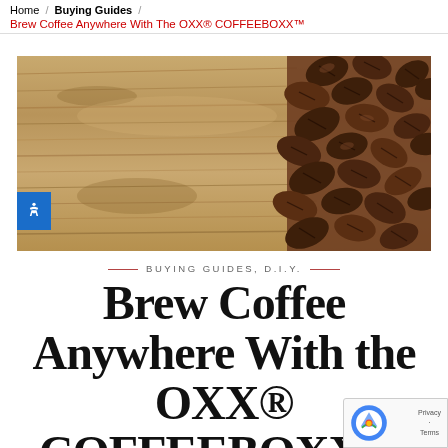Home / Buying Guides / Brew Coffee Anywhere With The OXX® COFFEEBOXX™
[Figure (photo): Hero banner image showing a wood grain surface on the left half and a pile of dark roasted coffee beans on the right half.]
— BUYING GUIDES, D.I.Y. —
Brew Coffee Anywhere With the OXX® COFFEEBOXX™